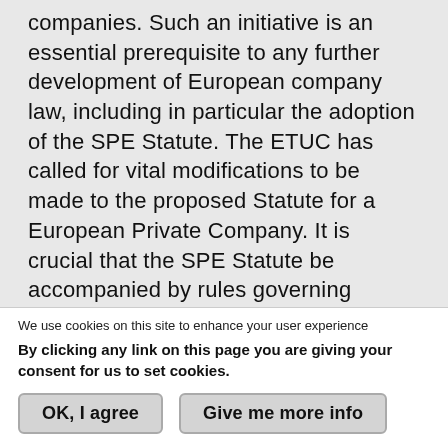companies. Such an initiative is an essential prerequisite to any further development of European company law, including in particular the adoption of the SPE Statute. The ETUC has called for vital modifications to be made to the proposed Statute for a European Private Company. It is crucial that the SPE Statute be accompanied by rules governing minimum standards on workers' involvement and that the SPE does not put national legal forms – and the participation rights that are attached to it – under pressure. A cross border dimension and minimum capital requirements are therefore essential prerequisite
We use cookies on this site to enhance your user experience
By clicking any link on this page you are giving your consent for us to set cookies.
OK, I agree
Give me more info